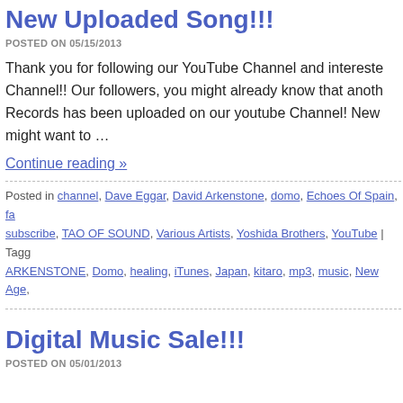New Uploaded Song!!!
POSTED ON 05/15/2013
Thank you for following our YouTube Channel and intereste Channel!! Our followers, you might already know that anoth Records has been uploaded on our youtube Channel! New might want to …
Continue reading »
Posted in channel, Dave Eggar, David Arkenstone, domo, Echoes Of Spain, fa subscribe, TAO OF SOUND, Various Artists, Yoshida Brothers, YouTube | Tagg ARKENSTONE, Domo, healing, iTunes, Japan, kitaro, mp3, music, New Age,
Digital Music Sale!!!
POSTED ON 05/01/2013